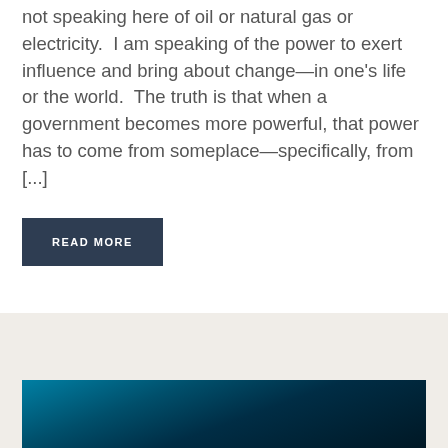not speaking here of oil or natural gas or electricity. I am speaking of the power to exert influence and bring about change—in one's life or the world. The truth is that when a government becomes more powerful, that power has to come from someplace—specifically, from [...]
READ MORE
[Figure (photo): A blue-toned image strip visible at the bottom of the page, appearing to show a dark blue gradient background, partially cropped.]